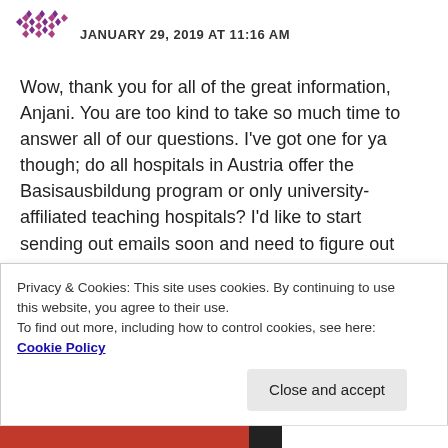JANUARY 29, 2019 AT 11:16 AM
Wow, thank you for all of the great information, Anjani. You are too kind to take so much time to answer all of our questions. I've got one for ya though; do all hospitals in Austria offer the Basisausbildung program or only university-affiliated teaching hospitals? I'd like to start sending out emails soon and need to figure out who offers these training programs.
Thank you!
Privacy & Cookies: This site uses cookies. By continuing to use this website, you agree to their use.
To find out more, including how to control cookies, see here: Cookie Policy